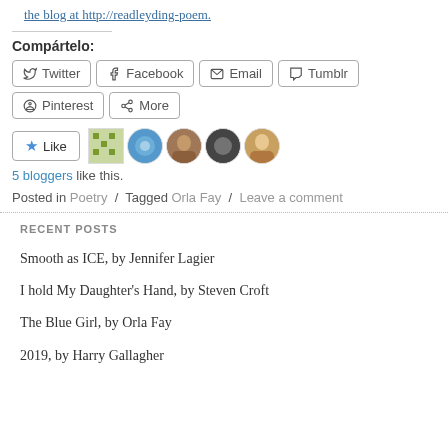the blog at http://readleyding-poem.
Compártelo:
Twitter  Facebook  Email  Tumblr  Pinterest  More
Like  5 bloggers like this.
Posted in Poetry / Tagged Orla Fay / Leave a comment
RECENT POSTS
Smooth as ICE, by Jennifer Lagier
I hold My Daughter's Hand, by Steven Croft
The Blue Girl, by Orla Fay
2019, by Harry Gallagher